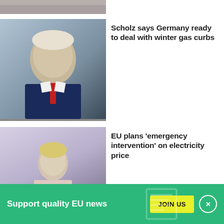[Figure (photo): Partial top image cropped at top of page, people walking]
Scholz says Germany ready to deal with winter gas curbs
[Figure (photo): Portrait of Olaf Scholz in dark suit with red tie against grey background]
EU plans 'emergency intervention' on electricity price
[Figure (photo): Woman at podium in light pink jacket speaking at press conference]
EU draft report ramps up
[Figure (photo): Dark background partial image]
Support quality EU news
JOIN US